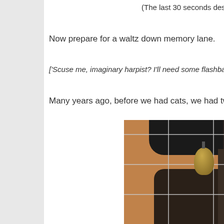(The last 30 seconds desperately need s
Now prepare for a waltz down memory lane.
['Scuse me, imaginary harpist? I'll need some flashback music here, if you
Many years ago, before we had cats, we had two chins. Cricke
[Figure (photo): Photo of a chinchilla or similar small animal inside a wire cage with a bamboo mat background and a hanging bell/toy. The animal is dark colored and partially visible through the cage bars.]